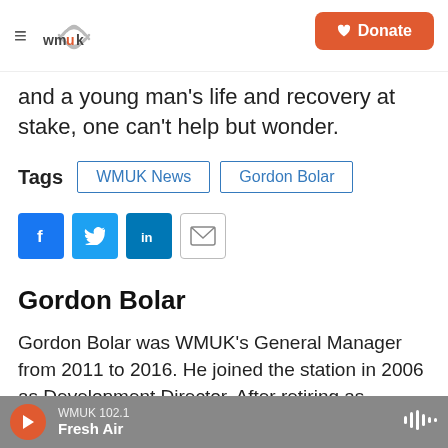WMUK — Donate
and a young man's life and recovery at stake, one can't help but wonder.
Tags  WMUK News  Gordon Bolar
[Figure (infographic): Social sharing buttons: Facebook, Twitter, LinkedIn, Email]
Gordon Bolar
Gordon Bolar was WMUK's General Manager from 2011 to 2016. He joined the station in 2006 as Development Director. After retiring as General Manager, Gordon has
WMUK 102.1  Fresh Air